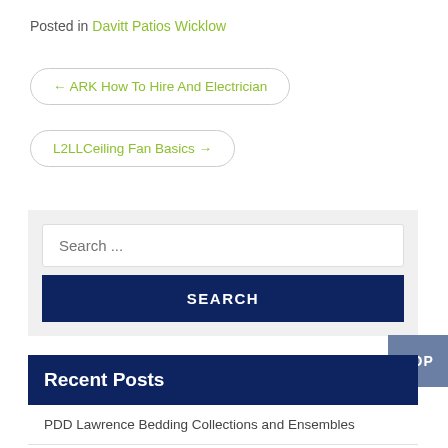Posted in Davitt Patios Wicklow
← ARK How To Hire And Electrician
L2LLCeiling Fan Basics →
Search ...
SEARCH
TOP
Recent Posts
PDD Lawrence Bedding Collections and Ensembles
PDD Lawn Furniture Cushion Replacement- Transform Your